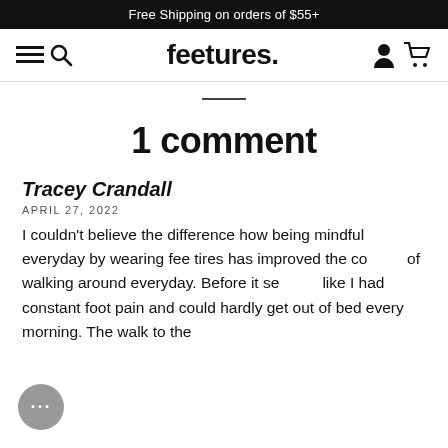Free Shipping on orders of $55+
feetures.
1 comment
Tracey Crandall
APRIL 27, 2022
I couldn't believe the difference how being mindful everyday by wearing fee tires has improved the co of walking around everyday. Before it se like I had constant foot pain and could hardly get out of bed every morning. The walk to the